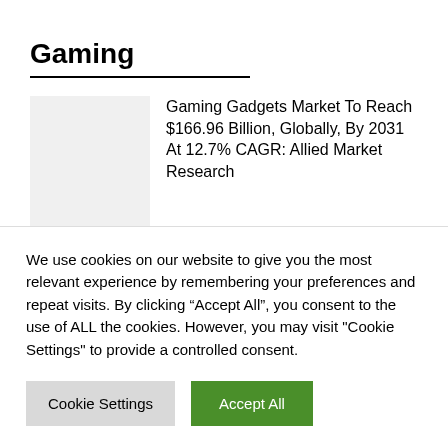Gaming
Gaming Gadgets Market To Reach $166.96 Billion, Globally, By 2031 At 12.7% CAGR: Allied Market Research
We use cookies on our website to give you the most relevant experience by remembering your preferences and repeat visits. By clicking “Accept All”, you consent to the use of ALL the cookies. However, you may visit "Cookie Settings" to provide a controlled consent.